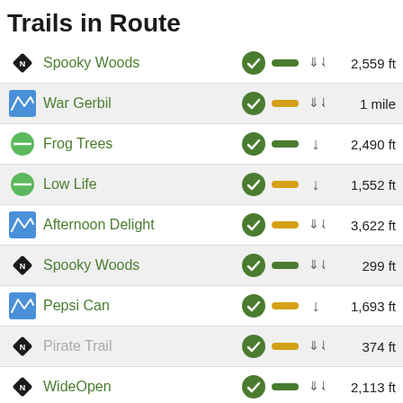Trails in Route
| Icon | Trail Name | Status | Difficulty | Direction | Distance |
| --- | --- | --- | --- | --- | --- |
| diamond | Spooky Woods | checked | green | down-down | 2,559 ft |
| wave | War Gerbil | checked | yellow | down-down | 1 mile |
| circle | Frog Trees | checked | green | down | 2,490 ft |
| circle | Low Life | checked | yellow | down | 1,552 ft |
| wave | Afternoon Delight | checked | yellow | down-down | 3,622 ft |
| diamond | Spooky Woods | checked | green | down-down | 299 ft |
| wave | Pepsi Can | checked | yellow | down | 1,693 ft |
| diamond | Pirate Trail | checked | yellow | down-down | 374 ft |
| diamond | WideOpen | checked | green | down-down | 2,113 ft |
| wave | Tinkerbell | checked | green | down-down | 187 ft |
| diamond | Secret Squirrel | checked | green | down-down | 2,667 ft |